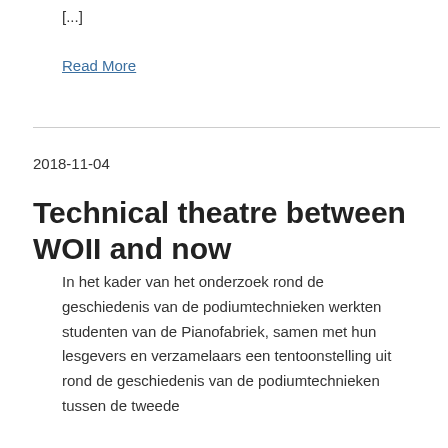[...]
Read More
2018-11-04
Technical theatre between WOII and now
In het kader van het onderzoek rond de geschiedenis van de podiumtechnieken werkten studenten van de Pianofabriek, samen met hun lesgevers en verzamelaars een tentoonstelling uit rond de geschiedenis van de podiumtechnieken tussen de tweede